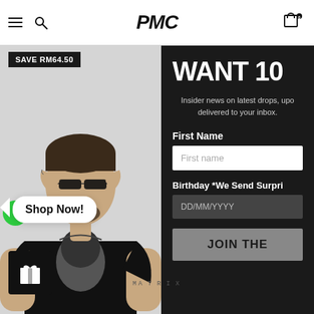PMC
[Figure (photo): A man wearing black t-shirt and sunglasses, holding his sunglasses, against a light grey background. The t-shirt has a face graphic print and 'MATRIX' text at the bottom.]
SAVE RM64.50
Shop Now!
WANT 10
Insider news on latest drops, upo delivered to your inbox.
First Name
First name
Birthday *We Send Surpri
DD/MM/YYYY
JOIN THE